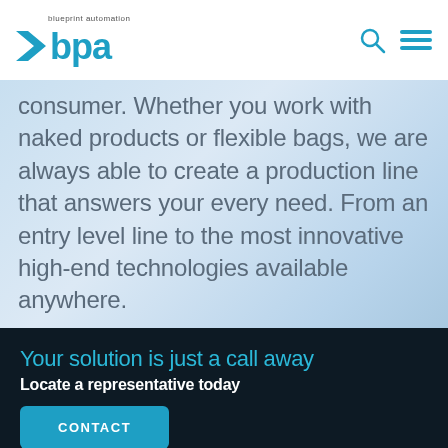[Figure (logo): Blueprint Automation BPA logo with chevron/arrow mark in blue, tagline 'blueprint automation' above]
consumer. Whether you work with naked products or flexible bags, we are always able to create a production line that answers your every need. From an entry level line to the most innovative high-end technologies available anywhere.
Your solution is just a call away
Locate a representative today
CONTACT